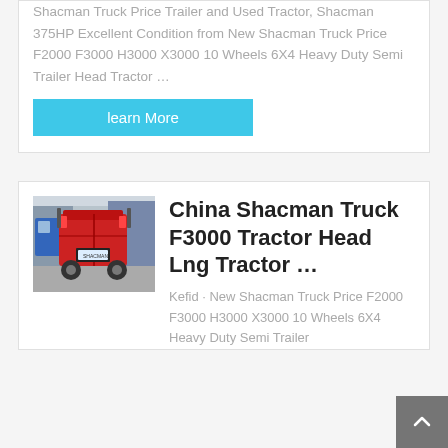Shacman Truck Price Trailer and Used Tractor, Shacman 375HP Excellent Condition from New Shacman Truck Price F2000 F3000 H3000 X3000 10 Wheels 6X4 Heavy Duty Semi Trailer Head Tractor …
learn More
[Figure (photo): Rear view of a red Shacman truck tractor head parked in a truck lot]
China Shacman Truck F3000 Tractor Head Lng Tractor …
Kefid · New Shacman Truck Price F2000 F3000 H3000 X3000 10 Wheels 6X4 Heavy Duty Semi Trailer